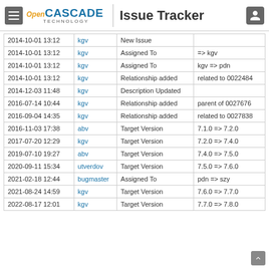Open CASCADE TECHNOLOGY | Issue Tracker
|  |  |  |  |
| --- | --- | --- | --- |
| 2014-10-01 13:12 | kgv | New Issue |  |
| 2014-10-01 13:12 | kgv | Assigned To | => kgv |
| 2014-10-01 13:12 | kgv | Assigned To | kgv => pdn |
| 2014-10-01 13:12 | kgv | Relationship added | related to 0022484 |
| 2014-12-03 11:48 | kgv | Description Updated |  |
| 2016-07-14 10:44 | kgv | Relationship added | parent of 0027676 |
| 2016-09-04 14:35 | kgv | Relationship added | related to 0027838 |
| 2016-11-03 17:38 | abv | Target Version | 7.1.0 => 7.2.0 |
| 2017-07-20 12:29 | kgv | Target Version | 7.2.0 => 7.4.0 |
| 2019-07-10 19:27 | abv | Target Version | 7.4.0 => 7.5.0 |
| 2020-09-11 15:34 | utverdov | Target Version | 7.5.0 => 7.6.0 |
| 2021-02-18 12:44 | bugmaster | Assigned To | pdn => szy |
| 2021-08-24 14:59 | kgv | Target Version | 7.6.0 => 7.7.0 |
| 2022-08-17 12:01 | kgv | Target Version | 7.7.0 => 7.8.0 |